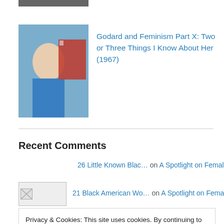[Figure (photo): Thumbnail image partially visible at top — dark/gray bar cropped]
[Figure (photo): Thumbnail of a woman in a blue shirt, with a red object in background — article thumbnail for Godard and Feminism Part X]
Godard and Feminism Part X: Two or Three Things I Know About Her (1967)
Recent Comments
26 Little Known Blac… on A Spotlight on Female African…
[Figure (photo): Broken image icon placeholder for commenter avatar]
21 Black American Wo… on A Spotlight on Female African…
Privacy & Cookies: This site uses cookies. By continuing to use this website, you agree to their use.
To find out more, including how to control cookies, see here: Cookie Policy
Close and accept